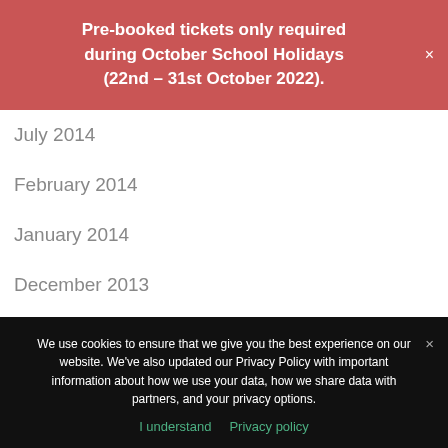Pre-booked tickets only required during October School Holidays (22nd – 31st October 2022).
July 2014
February 2014
January 2014
December 2013
September 2013
July 2013
June 2013
We use cookies to ensure that we give you the best experience on our website. We've also updated our Privacy Policy with important information about how we use your data, how we share data with partners, and your privacy options.
I understand   Privacy policy